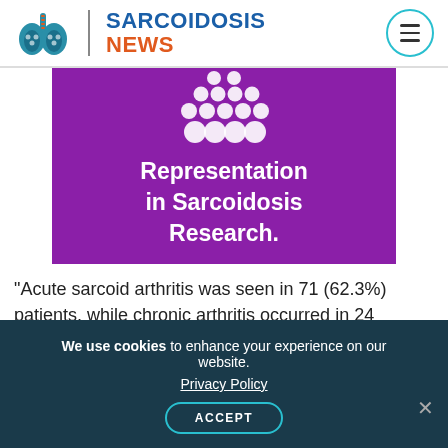SARCOIDOSIS NEWS
[Figure (illustration): Purple banner image with white dots arranged in a diamond/triangle pattern at the top, and bold white text reading 'Representation in Sarcoidosis Research.']
“Acute sarcoid arthritis was seen in 71 (62.3%) patients, while chronic arthritis occurred in 24 (21.1%) patients. Oligoarthritis was the most
We use cookies to enhance your experience on our website. Privacy Policy ACCEPT